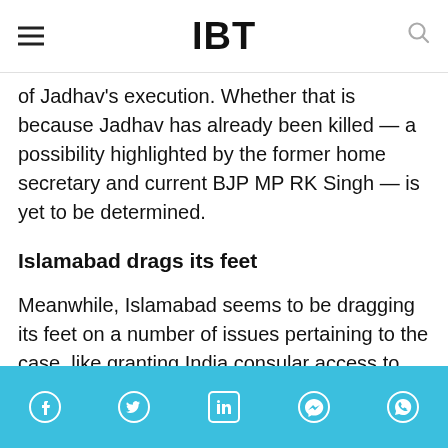IBT
of Jadhav's execution. Whether that is because Jadhav has already been killed – a possibility highlighted by the former home secretary and current BJP MP RK Singh – is yet to be determined.
Islamabad drags its feet
Meanwhile, Islamabad seems to be dragging its feet on a number of issues pertaining to the case, like granting India consular access to Jadhav, or processing visas of members of his family to visit him.
Facebook Twitter LinkedIn Messenger WhatsApp